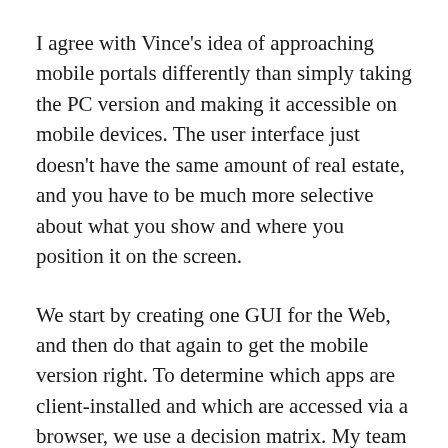I agree with Vince's idea of approaching mobile portals differently than simply taking the PC version and making it accessible on mobile devices. The user interface just doesn't have the same amount of real estate, and you have to be much more selective about what you show and where you position it on the screen.
We start by creating one GUI for the Web, and then do that again to get the mobile version right. To determine which apps are client-installed and which are accessed via a browser, we use a decision matrix. My team considers things like the target user base and what they plan to do with the data. Viewing class schedules or checking sports scores could be done with a website; more UI-intensive tasks, like GPS, would require an installed app. The downside of installed apps is that you need to have a software